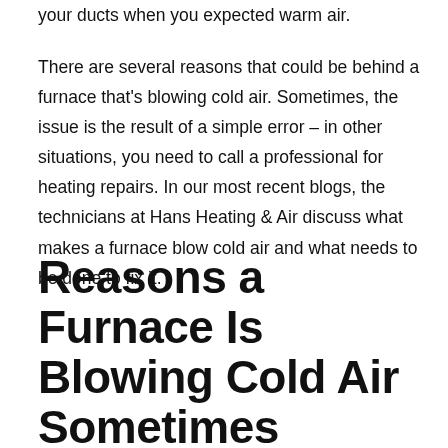your ducts when you expected warm air.
There are several reasons that could be behind a furnace that's blowing cold air. Sometimes, the issue is the result of a simple error – in other situations, you need to call a professional for heating repairs. In our most recent blogs, the technicians at Hans Heating & Air discuss what makes a furnace blow cold air and what needs to be done to fix it.
Reasons a Furnace Is Blowing Cold Air Sometimes